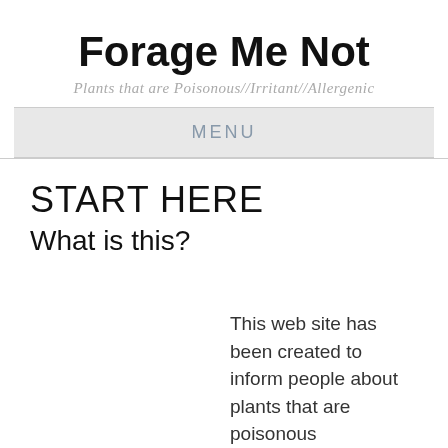Forage Me Not
Plants that are Poisonous//Irritant//Allergenic
MENU
START HERE
What is this?
This web site has been created to inform people about plants that are poisonous